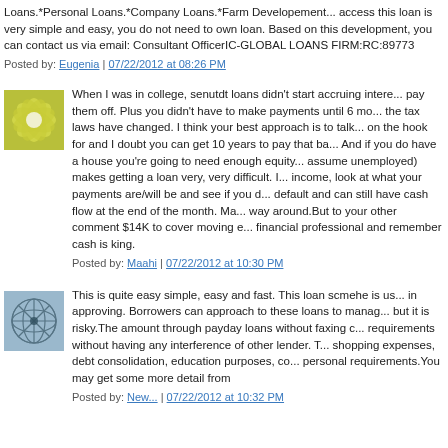Loans.*Personal Loans.*Company Loans.*Farm Developement... access this loan is very simple and easy, you do not need to own a loan. Based on this development, you can contact us via email: Consultant OfficerIC-GLOBAL LOANS FIRM:RC:89773
Posted by: Eugenia | 07/22/2012 at 08:26 PM
[Figure (illustration): Green/yellow flower/snowflake avatar icon]
When I was in college, senutdt loans didn't start accruing intere... pay them off. Plus you didn't have to make payments until 6 mo... the tax laws have changed. I think your best approach is to talk... on the hook for and I doubt you can get 10 years to pay that ba... And if you do have a house you're going to need enough equity... assume unemployed) makes getting a loan very, very difficult. I... income, look at what your payments are/will be and see if you d... default and can still have cash flow at the end of the month. Ma... way around.But to your other comment $14K to cover moving e... financial professional and remember cash is king.
Posted by: Maahi | 07/22/2012 at 10:30 PM
[Figure (illustration): Blue/grey geometric net pattern avatar icon]
This is quite easy simple, easy and fast. This loan scmehe is us... in approving. Borrowers can approach to these loans to manag... but it is risky.The amount through payday loans without faxing c... requirements without having any interference of other lender. T... shopping expenses, debt consolidation, education purposes, co... personal requirements.You may get some more detail from
Posted by: New... | 07/22/2012 at 10:32 PM